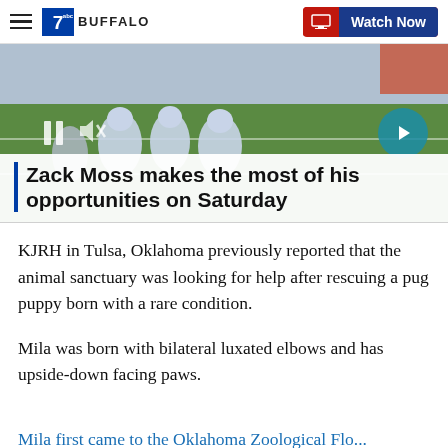7 BUFFALO — Watch Now
[Figure (screenshot): Video thumbnail showing football players on a field with a play/pause button and arrow navigation button]
Zack Moss makes the most of his opportunities on Saturday
KJRH in Tulsa, Oklahoma previously reported that the animal sanctuary was looking for help after rescuing a pug puppy born with a rare condition.
Mila was born with bilateral luxated elbows and has upside-down facing paws.